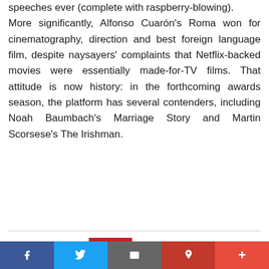speeches ever (complete with raspberry-blowing). More significantly, Alfonso Cuarón's Roma won for cinematography, direction and best foreign language film, despite naysayers' complaints that Netflix-backed movies were essentially made-for-TV films. That attitude is now history: in the forthcoming awards season, the platform has several contenders, including Noah Baumbach's Marriage Story and Martin Scorsese's The Irishman.
MEDIA
'People go a funny colour and keel over': Briony Greenhill on leading the world's most intense singing lessons
After discovering the creative joys of
[Figure (photo): Photo of a smiling blonde woman outdoors]
[Figure (other): Social media sharing bar with Facebook, Twitter, email, Pinterest, and plus buttons]